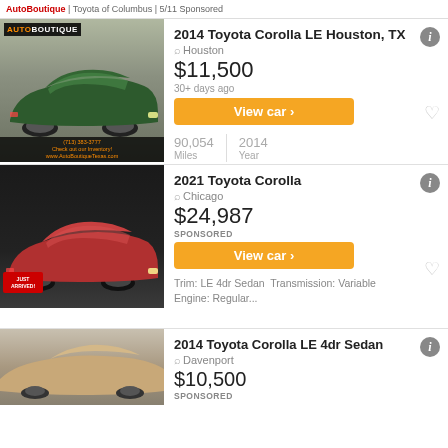AutoBoutique | Toyota of Columbus | 5/11 Sponsored
[Figure (photo): 2014 Toyota Corolla LE, dark green, parked in dealership lot with Auto Boutique Texas logo and dealership banner]
2014 Toyota Corolla LE Houston, TX
Houston
$11,500
30+ days ago
View car >
90,054 Miles | 2014 Year
[Figure (photo): 2021 Toyota Corolla, red, photographed in studio setting with Just Arrived badge]
2021 Toyota Corolla
Chicago
$24,987
SPONSORED
View car >
Trim: LE 4dr Sedan Transmission: Variable Engine: Regular...
[Figure (photo): 2014 Toyota Corolla LE 4dr Sedan, tan/brown color, partial view]
2014 Toyota Corolla LE 4dr Sedan
Davenport
$10,500
SPONSORED